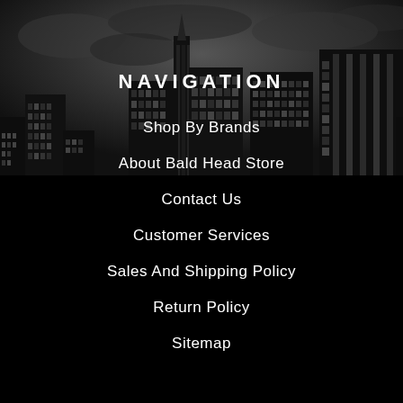[Figure (illustration): Dark city skyline silhouette against a dark cloudy sky, with buildings of various heights rendered in black and dark gray tones.]
NAVIGATION
Shop By Brands
About Bald Head Store
Contact Us
Customer Services
Sales And Shipping Policy
Return Policy
Sitemap